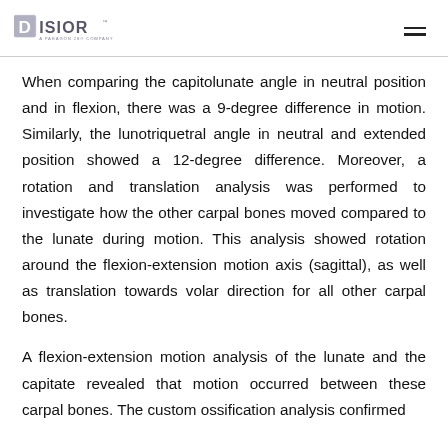DISIOR — A PARAGON 28 COMPANY
When comparing the capitolunate angle in neutral position and in flexion, there was a 9-degree difference in motion. Similarly, the lunotriquetral angle in neutral and extended position showed a 12-degree difference. Moreover, a rotation and translation analysis was performed to investigate how the other carpal bones moved compared to the lunate during motion. This analysis showed rotation around the flexion-extension motion axis (sagittal), as well as translation towards volar direction for all other carpal bones.
A flexion-extension motion analysis of the lunate and the capitate revealed that motion occurred between these carpal bones. The custom ossification analysis confirmed